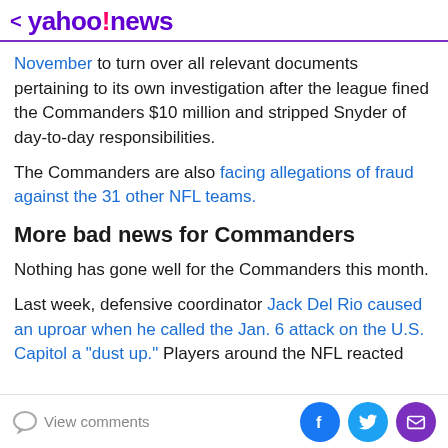< yahoo!news
November to turn over all relevant documents pertaining to its own investigation after the league fined the Commanders $10 million and stripped Snyder of day-to-day responsibilities.
The Commanders are also facing allegations of fraud against the 31 other NFL teams.
More bad news for Commanders
Nothing has gone well for the Commanders this month.
Last week, defensive coordinator Jack Del Rio caused an uproar when he called the Jan. 6 attack on the U.S. Capitol a "dust up." Players around the NFL reacted
View comments